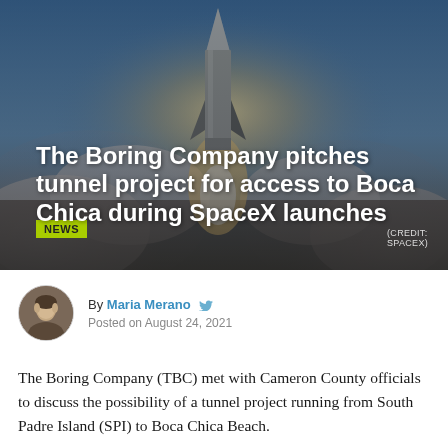[Figure (photo): SpaceX Starship rocket launching with large clouds of smoke and exhaust, against a blue sky with sun glare]
NEWS
The Boring Company pitches tunnel project for access to Boca Chica during SpaceX launches
(CREDIT: SPACEX)
By Maria Merano   Posted on August 24, 2021
The Boring Company (TBC) met with Cameron County officials to discuss the possibility of a tunnel project running from South Padre Island (SPI) to Boca Chica Beach.